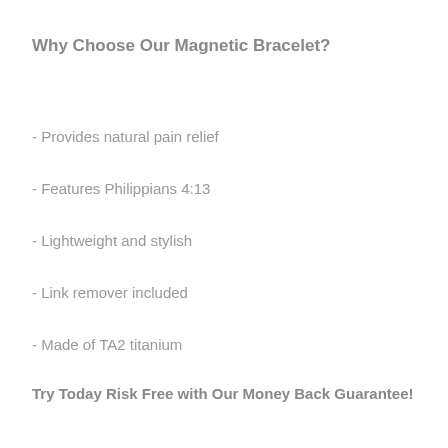Why Choose Our Magnetic Bracelet?
- Provides natural pain relief
- Features Philippians 4:13
- Lightweight and stylish
- Link remover included
- Made of TA2 titanium
Try Today Risk Free with Our Money Back Guarantee!